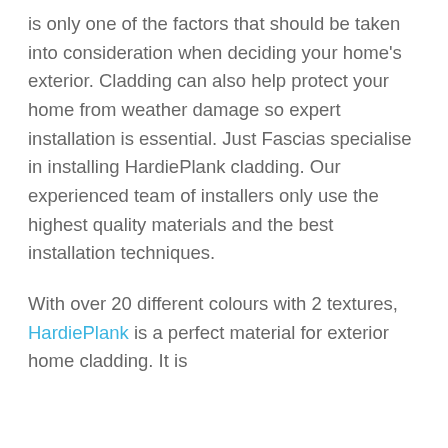is only one of the factors that should be taken into consideration when deciding your home's exterior. Cladding can also help protect your home from weather damage so expert installation is essential. Just Fascias specialise in installing HardiePlank cladding. Our experienced team of installers only use the highest quality materials and the best installation techniques.
With over 20 different colours with 2 textures, HardiePlank is a perfect material for exterior home cladding. It is